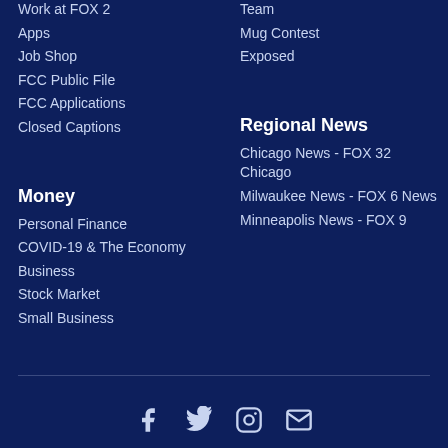Work at FOX 2
Apps
Job Shop
FCC Public File
FCC Applications
Closed Captions
Team
Mug Contest
Exposed
Money
Personal Finance
COVID-19 & The Economy
Business
Stock Market
Small Business
Regional News
Chicago News - FOX 32 Chicago
Milwaukee News - FOX 6 News
Minneapolis News - FOX 9
[Figure (infographic): Social media icons: Facebook, Twitter, Instagram, Email]